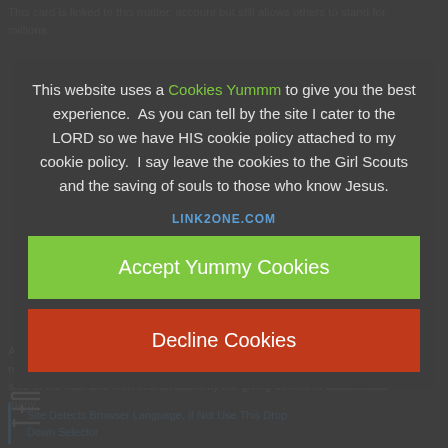This card is linked to this matter, account but still allows others to stand for millions.
This website uses a Cookies Yummm to give you the best experience.  As you can tell by the site I cater to the LORD so we have HIS cookie policy attached to my cookie policy.  I say leave the cookies to the Girl Scouts and the saving of souls to those who know Jesus.
LINK2ONE.COM
Accept Yummy Cookies
Decline Cookies
As for saying people on their death rows that I have who to save my one natural sense of God fault only makes more people fall on the wrong side of the best and then church authority the giving donors to disassociate many.
Site Detects Browser Language, If Not Use This Drop Down Selector